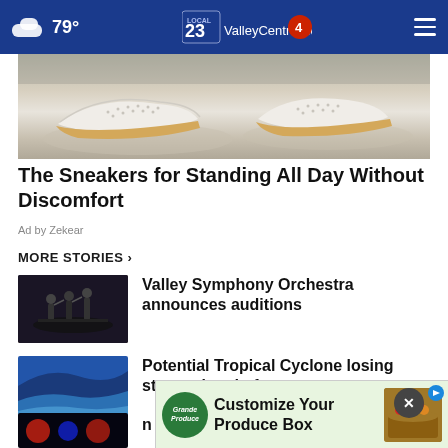79° ValleyCentral.com 23 4
[Figure (photo): Close-up of white sneaker shoes on a dark surface]
The Sneakers for Standing All Day Without Discomfort
Ad by Zekear
MORE STORIES ›
Valley Symphony Orchestra announces auditions
Potential Tropical Cyclone losing steam ahead of …
[Figure (photo): Grande Produce advertisement banner - Customize Your Produce Box]